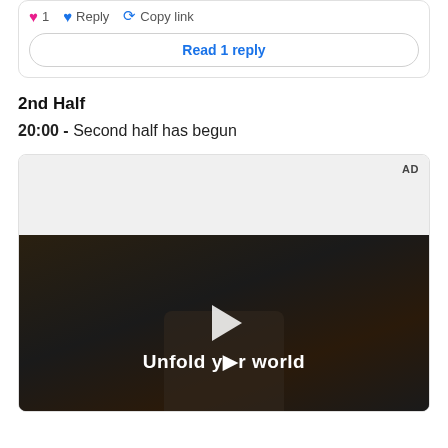❤ 1   💙 Reply   ↗ Copy link
Read 1 reply
2nd Half
20:00 - Second half has begun
[Figure (screenshot): Advertisement area with a video ad showing a woman holding a foldable phone in a car. Text reads 'Unfold your world' with a play button overlay. 'AD' label in top right corner.]